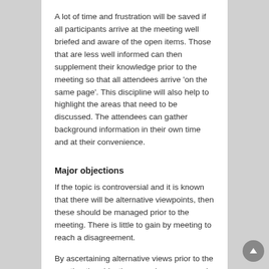A lot of time and frustration will be saved if all participants arrive at the meeting well briefed and aware of the open items. Those that are less well informed can then supplement their knowledge prior to the meeting so that all attendees arrive 'on the same page'. This discipline will also help to highlight the areas that need to be discussed. The attendees can gather background information in their own time and at their convenience.
Major objections
If the topic is controversial and it is known that there will be alternative viewpoints, then these should be managed prior to the meeting. There is little to gain by meeting to reach a disagreement.
By ascertaining alternative views prior to the meeting the objectives may be reassessed and